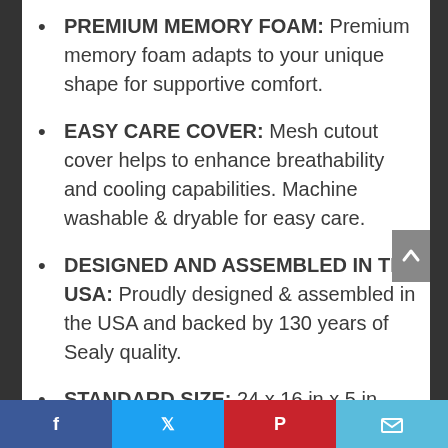PREMIUM MEMORY FOAM: Premium memory foam adapts to your unique shape for supportive comfort.
EASY CARE COVER: Mesh cutout cover helps to enhance breathability and cooling capabilities. Machine washable & dryable for easy care.
DESIGNED AND ASSEMBLED IN THE USA: Proudly designed & assembled in the USA and backed by 130 years of Sealy quality.
STANDARD SIZE: 24 x 16 in x 5 in